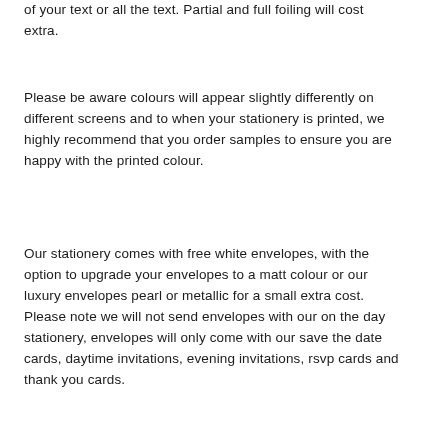of your text or all the text. Partial and full foiling will cost extra.
Please be aware colours will appear slightly differently on different screens and to when your stationery is printed, we highly recommend that you order samples to ensure you are happy with the printed colour.
Our stationery comes with free white envelopes, with the option to upgrade your envelopes to a matt colour or our luxury envelopes pearl or metallic for a small extra cost. Please note we will not send envelopes with our on the day stationery, envelopes will only come with our save the date cards, daytime invitations, evening invitations, rsvp cards and thank you cards.